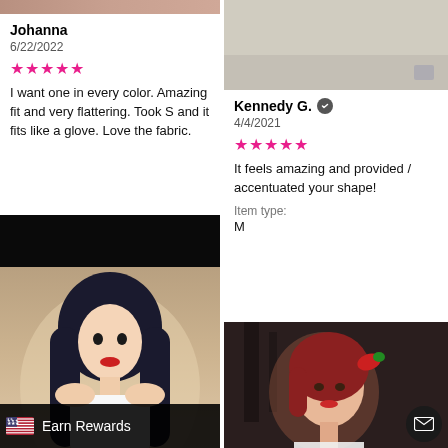[Figure (photo): Cropped photo at top of left column]
Johanna
6/22/2022
★★★★★
I want one in every color. Amazing fit and very flattering. Took S and it fits like a glove. Love the fabric.
[Figure (photo): Photo of woman with blue-black hair]
Earn Rewards
[Figure (photo): Photo on top right column]
Kennedy G. ✓
4/4/2021
★★★★★
It feels amazing and provided / accentuated your shape!
Item type:
M
[Figure (photo): Photo of woman with red hair and red accessory]